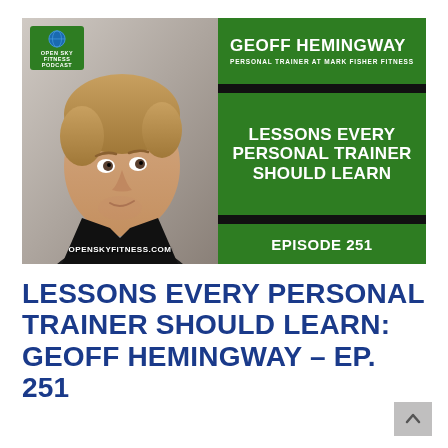[Figure (photo): Podcast cover art for Open Sky Fitness Podcast Episode 251 featuring Geoff Hemingway, personal trainer at Mark Fisher Fitness. Left side shows a photo of a blond man making an expressive face. Right side has green panels with name, tagline 'Lessons Every Personal Trainer Should Learn', and Episode 251.]
LESSONS EVERY PERSONAL TRAINER SHOULD LEARN: GEOFF HEMINGWAY – EP. 251